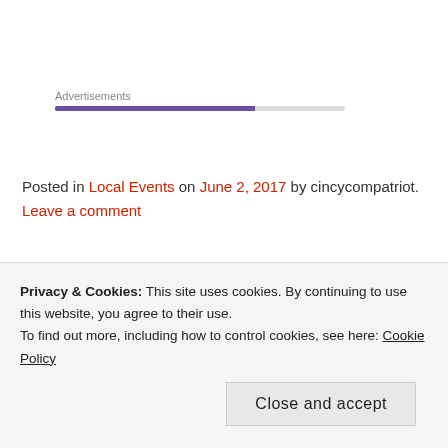Advertisements
Posted in Local Events on June 2, 2017 by cincycompatriot. Leave a comment
Privacy & Cookies: This site uses cookies. By continuing to use this website, you agree to their use.
To find out more, including how to control cookies, see here: Cookie Policy
Close and accept